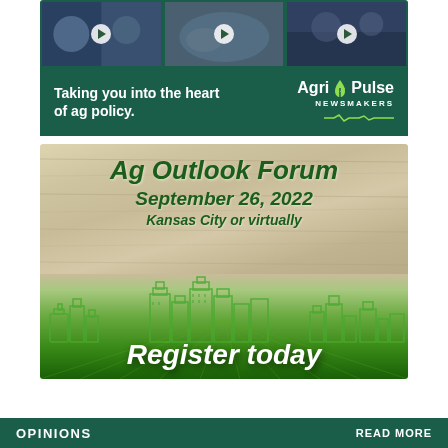[Figure (illustration): Agri-Pulse Newsmakers advertisement banner with three video thumbnails showing people and a world map, on a dark green background, with text 'Taking you into the heart of ag policy.' and the Agri-Pulse Newsmakers logo]
[Figure (illustration): Ag Outlook Forum advertisement with wooden background texture, green city skyline silhouette, crop field in foreground. Text: 'Ag Outlook Forum September 26, 2022 Kansas City or virtually' and 'Register today']
OPINIONS    READ MORE